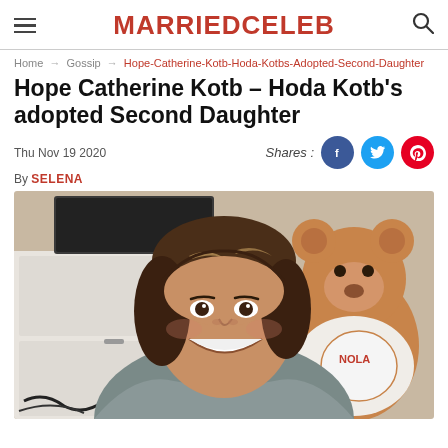MARRIEDCELEB
Home → Gossip → Hope-Catherine-Kotb-Hoda-Kotbs-Adopted-Second-Daughter
Hope Catherine Kotb – Hoda Kotb's adopted Second Daughter
Thu Nov 19 2020
Shares:
By SELENA
[Figure (photo): Woman with shoulder-length highlighted brown hair smiling broadly at camera, wearing a grey hoodie. In the background is a white dresser and a large teddy bear wearing a NOLA t-shirt.]